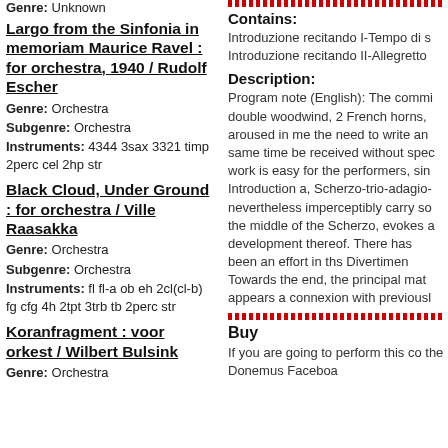Genre: Unknown
Largo from the Sinfonia in memoriam Maurice Ravel : for orchestra, 1940 / Rudolf Escher
Genre: Orchestra
Subgenre: Orchestra
Instruments: 4344 3sax 3321 timp 2perc cel 2hp str
Black Cloud, Under Ground : for orchestra / Ville Raasakka
Genre: Orchestra
Subgenre: Orchestra
Instruments: fl fl-a ob eh 2cl(cl-b) fg cfg 4h 2tpt 3trb tb 2perc str
Koranfragment : voor orkest / Wilbert Bulsink
Genre: Orchestra
Contains:
Introduzione recitando I-Tempo di s
Introduzione recitando II-Allegretto
Description:
Program note (English): The commi double woodwind, 2 French horns, aroused in me the need to write an same time be received without spec work is easy for the performers, sin Introduction a, Scherzo-trio-adagio- nevertheless imperceptibly carry so the middle of the Scherzo, evokes a development thereof. There has been an effort in ths Divertimen Towards the end, the principal mat appears a connexion with previousl
Buy
If you are going to perform this co the Donemus Faceboa...